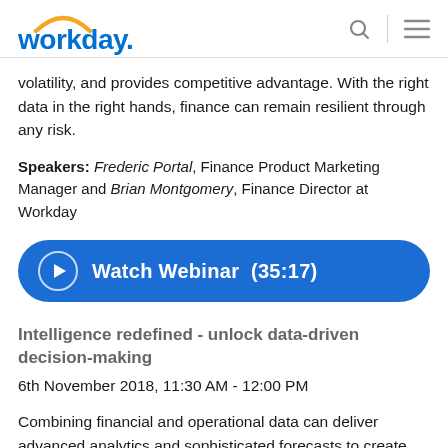workday.
volatility, and provides competitive advantage. With the right data in the right hands, finance can remain resilient through any risk.
Speakers: Frederic Portal, Finance Product Marketing Manager and Brian Montgomery, Finance Director at Workday
[Figure (other): Blue rounded button with play icon: Watch Webinar (35:17)]
Intelligence redefined - unlock data-driven decision-making
6th November 2018, 11:30 AM - 12:00 PM
Combining financial and operational data can deliver advanced analytics and sophisticated forecasts to create new insights.